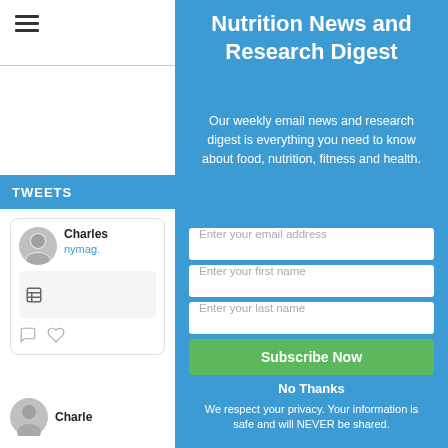[Figure (screenshot): Hamburger menu icon (three horizontal lines) in top left of left panel]
TWEETS
[Figure (screenshot): Tweet card showing Charles with avatar, handle nymag., and tweet content with icons]
[Figure (screenshot): Second tweet card showing Charles avatar and name partially visible]
Nutrition News and Research Digest
Our weekly email news and research digest is everything you need to know about food, nutrition, fitness and health.
Enter your email address
Enter your first name
Enter your last name
Subscribe Now
No Thanks
We respect your privacy. Your information is safe and will NEVER be shared.